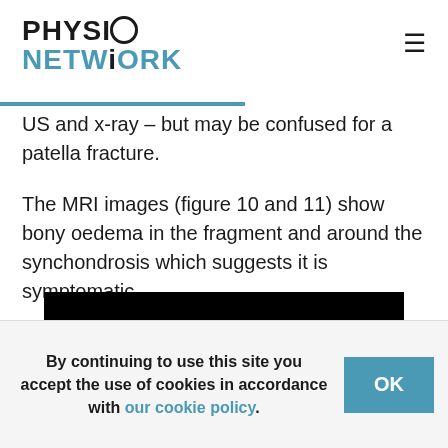PHYSIO NETWORK
US and x-ray – but may be confused for a patella fracture.
The MRI images (figure 10 and 11) show bony oedema in the fragment and around the synchondrosis which suggests it is symptomatic.
[Figure (photo): MRI image showing a knee joint in cross-section, grayscale on black background, partially cropped]
By continuing to use this site you accept the use of cookies in accordance with our cookie policy.